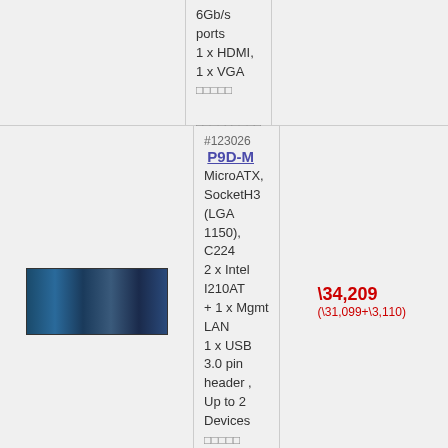6Gb/s ports
1 x HDMI, 1 x VGA
[garbled]
[garbled]
#123026 P9D-M
MicroATX, SocketH3 (LGA 1150), C224
2 x Intel I210AT + 1 x Mgmt LAN
1 x USB 3.0 pin header , Up to 2 Devices
[garbled]
[garbled]
\34,209
(\31,099+\3,110)
#123027 P9D-MV
MicroATX, SocketH3 (LGA 1150), C222
2 x Intel I210AT + 1 x Mgmt LAN
[garbled]
\29,369
(\26,699+\2,670)